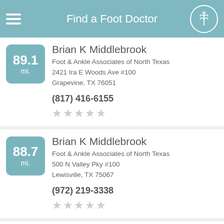Find a Foot Doctor
89.1 mi. — Brian K Middlebrook
Foot & Ankle Associates of North Texas
2421 Ira E Woods Ave #100
Grapevine, TX 76051
(817) 416-6155
88.7 mi. — Brian K Middlebrook
Foot & Ankle Associates of North Texas
500 N Valley Pky #100
Lewisville, TX 75067
(972) 219-3338
Michael J Miller